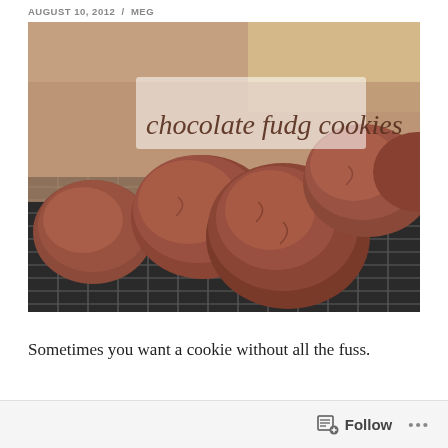AUGUST 10, 2012 / MEG
[Figure (photo): Photo of chocolate fudge cookies cooling on a wire rack, with a semi-transparent banner overlay reading 'chocolate fudg cookies' in cursive script]
Sometimes you want a cookie without all the fuss.
Follow ...